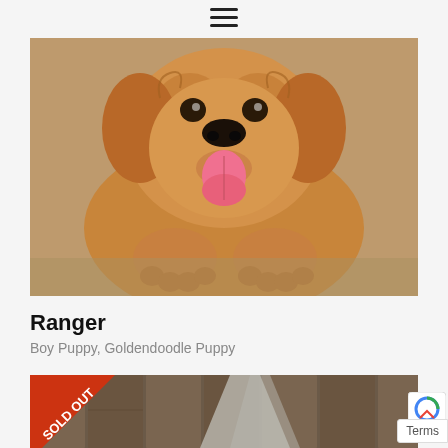[Figure (other): Hamburger/navigation menu icon with three horizontal lines]
[Figure (photo): Close-up photo of a golden/apricot Goldendoodle puppy named Ranger lying on carpet with tongue out, looking at camera]
Ranger
Boy Puppy, Goldendoodle Puppy
[Figure (photo): Partial view of a second puppy photo with a red 'SOLD OUT' diagonal banner in the bottom-left corner, showing a wooden fence background]